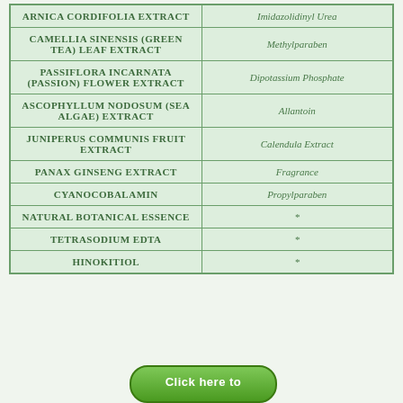| Botanical / Active Ingredient | Conventional Ingredient |
| --- | --- |
| ARNICA CORDIFOLIA EXTRACT | Imidazolidinyl Urea |
| CAMELLIA SINENSIS (GREEN TEA) LEAF EXTRACT | Methylparaben |
| PASSIFLORA INCARNATA (PASSION) FLOWER EXTRACT | Dipotassium Phosphate |
| ASCOPHYLLUM NODOSUM (SEA ALGAE) EXTRACT | Allantoin |
| JUNIPERUS COMMUNIS FRUIT EXTRACT | Calendula Extract |
| PANAX GINSENG EXTRACT | Fragrance |
| CYANOCOBALAMIN | Propylparaben |
| NATURAL BOTANICAL ESSENCE | * |
| TETRASODIUM EDTA | * |
| HINOKITIOL | * |
[Figure (other): Green rounded button partially visible at the bottom with text 'Click here to']